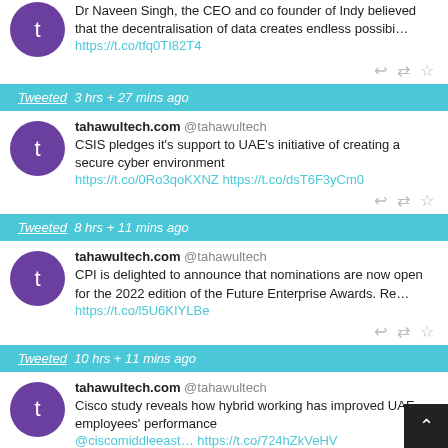Dr Naveen Singh, the CEO and co founder of Indy believed that the decentralisation of data creates endless possibi…
https://t.co/tfq0TI82T4
Tweeted  3 hrs + 27 mins ago
tahawultech.com @tahawultech
CSIS pledges it's support to UAE's initiative of creating a secure cyber environment
https://t.co/0Ro3qoKXNZ https://t.co/dsT6F3yCm0
Tweeted  8 hrs + 11 mins ago
tahawultech.com @tahawultech
CPI is delighted to announce that nominations are now open for the 2022 edition of the Future Enterprise Awards. Re…
https://t.co/l5U6KIYLBe
Tweeted  10 hrs + 11 mins ago
tahawultech.com @tahawultech
Cisco study reveals how hybrid working has improved UAE employees' performance
@ciscomiddleeast… https://t.co/724hZkVeHV